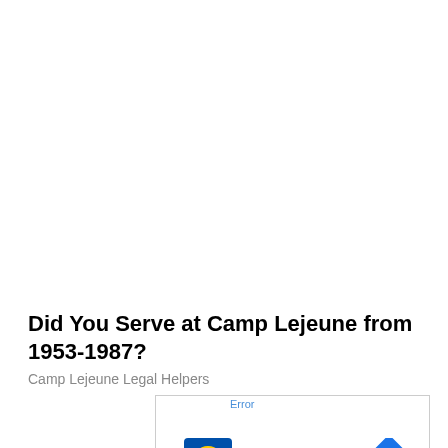Did You Serve at Camp Lejeune from 1953-1987?
Camp Lejeune Legal Helpers
[Figure (screenshot): Advertisement block showing Lidl store information with logo, map arrow icon, play/close buttons, and text: Error / Ashburn OPEN 8AM-9PM / 44175 Ashbrook Marketplace Pl]